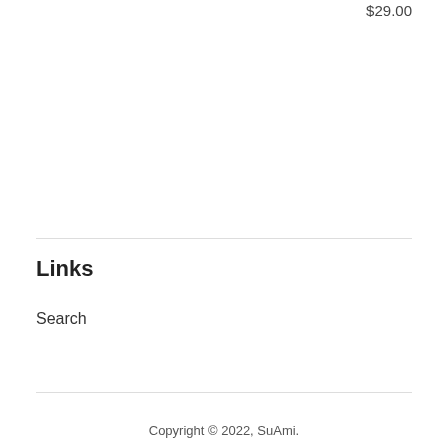$29.00
Links
Search
Copyright © 2022, SuAmi.